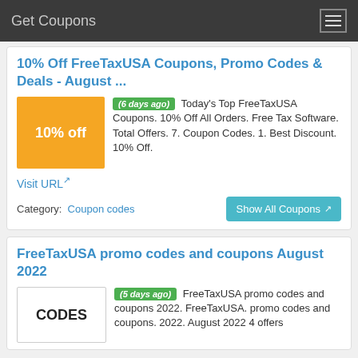Get Coupons
10% Off FreeTaxUSA Coupons, Promo Codes & Deals - August ...
[Figure (other): Orange coupon badge showing '10% off']
(6 days ago) Today's Top FreeTaxUSA Coupons. 10% Off All Orders. Free Tax Software. Total Offers. 7. Coupon Codes. 1. Best Discount. 10% Off.
Visit URL
Category:  Coupon codes
Show All Coupons
FreeTaxUSA promo codes and coupons August 2022
[Figure (other): White box with text CODES]
(5 days ago) FreeTaxUSA promo codes and coupons 2022. FreeTaxUSA. promo codes and coupons. 2022. August 2022 4 offers